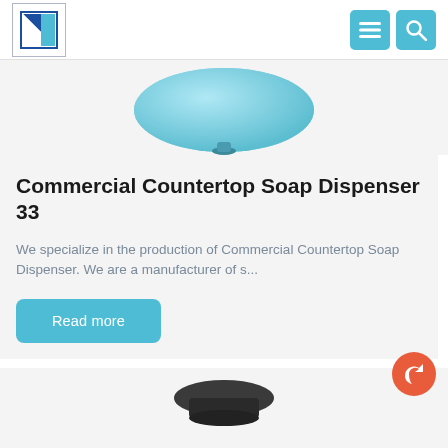Logo and navigation icons
[Figure (photo): Partial view of a light blue countertop soap dispenser (bottom portion visible), shown on a light gray background]
Commercial Countertop Soap Dispenser 33
We specialize in the production of Commercial Countertop Soap Dispenser. We are a manufacturer of s...
Read more
[Figure (photo): Partial view of the top of a dark/black soap dispenser product, bottom of page]